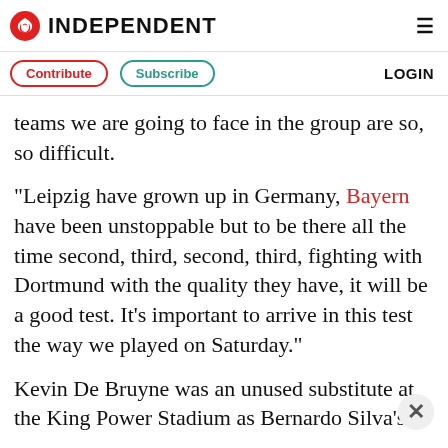INDEPENDENT
Contribute   Subscribe   LOGIN
teams we are going to face in the group are so, so difficult.
“Leipzig have grown up in Germany, Bayern have been unstoppable but to be there all the time second, third, second, third, fighting with Dortmund with the quality they have, it will be a good test. It’s important to arrive in this test the way we played on Saturday.”
Kevin De Bruyne was an unused substitute at the King Power Stadium as Bernardo Silva’s